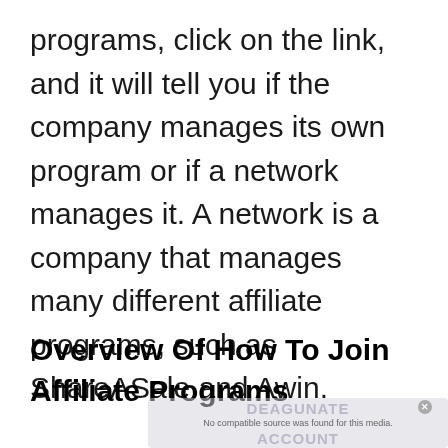programs, click on the link, and it will tell you if the company manages its own program or if a network manages it. A network is a company that manages many different affiliate programs, such as ShareASale and Awin.
Overview Of How To Join Affiliate Programs
[Figure (screenshot): A partially visible video player overlay showing watermark text 'DEAGUNATE ACCOUNT' with a trash/basket icon illustration and a close X button. Text reads 'No compatible source was found for this media.']